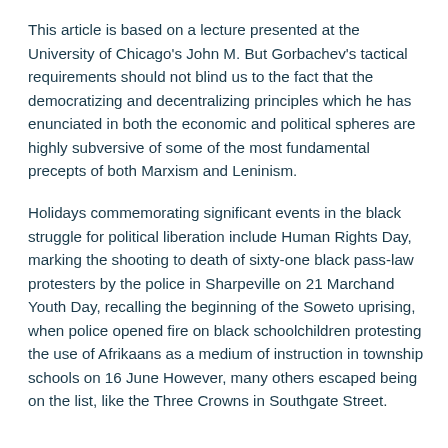This article is based on a lecture presented at the University of Chicago's John M. But Gorbachev's tactical requirements should not blind us to the fact that the democratizing and decentralizing principles which he has enunciated in both the economic and political spheres are highly subversive of some of the most fundamental precepts of both Marxism and Leninism.
Holidays commemorating significant events in the black struggle for political liberation include Human Rights Day, marking the shooting to death of sixty-one black pass-law protesters by the police in Sharpeville on 21 Marchand Youth Day, recalling the beginning of the Soweto uprising, when police opened fire on black schoolchildren protesting the use of Afrikaans as a medium of instruction in township schools on 16 June However, many others escaped being on the list, like the Three Crowns in Southgate Street.